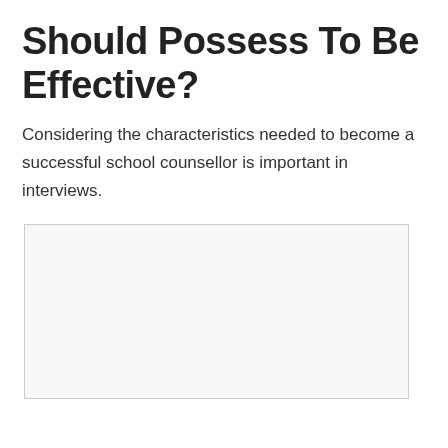Should Possess To Be Effective?
Considering the characteristics needed to become a successful school counsellor is important in interviews.
[Figure (other): A rectangular placeholder image with light gray background and a thin border.]